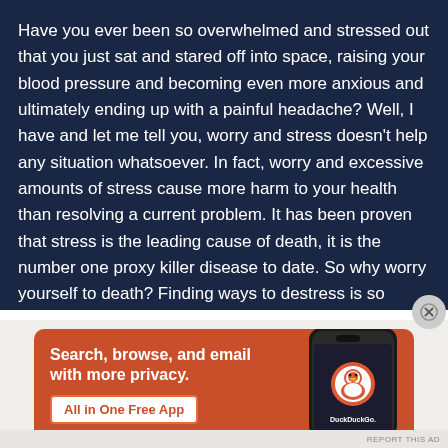Have you ever been so overwhelmed and stressed out that you just sat and stared off into space, raising your blood pressure and becoming even more anxious and ultimately ending up with a painful headache? Well, I have and let me tell you, worry and stress doesn't help any situation whatsoever. In fact, worry and excessive amounts of stress cause more harm to your health than resolving a current problem. It has been proven that stress is the leading cause of death, it is the number one proxy killer disease to date. So why worry yourself to death? Finding ways to destress is so crucial for not only your mental health but physically as well. Breathe. Practicing breathing is a great way to destress. Being mindful and staying in the present is also another effective way to let go of
[Figure (screenshot): DuckDuckGo advertisement banner: orange background with text 'Search, browse, and email with more privacy. All in One Free App' and an image of a smartphone with the DuckDuckGo logo and name.]